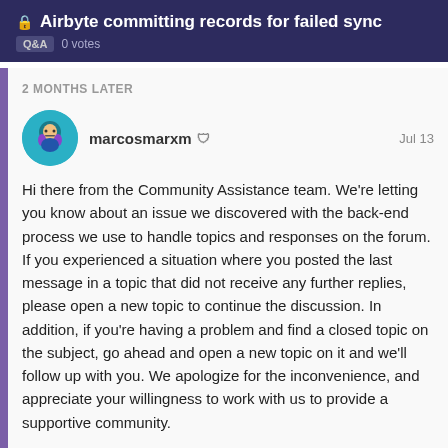Airbyte committing records for failed sync
Q&A  0 votes
2 MONTHS LATER
marcosmarxm 🛡  Jul 13
Hi there from the Community Assistance team. We're letting you know about an issue we discovered with the back-end process we use to handle topics and responses on the forum. If you experienced a situation where you posted the last message in a topic that did not receive any further replies, please open a new topic to continue the discussion. In addition, if you're having a problem and find a closed topic on the subject, go ahead and open a new topic on it and we'll follow up with you. We apologize for the inconvenience, and appreciate your willingness to work with us to provide a supportive community.